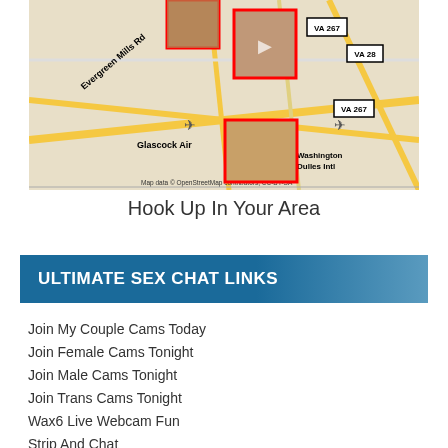[Figure (map): Street map showing area near Washington Dulles Intl airport with photo pins overlay. Labels include Evergreen Mills Rd, Ryan, VA 267, VA 28, Glascock Air, Washington Dulles Intl. Map data OpenStreetMap contributors, CC-BY-SA.]
Hook Up In Your Area
ULTIMATE SEX CHAT LINKS
Join My Couple Cams Today
Join Female Cams Tonight
Join Male Cams Tonight
Join Trans Cams Tonight
Wax6 Live Webcam Fun
Strip And Chat
Asian Cams